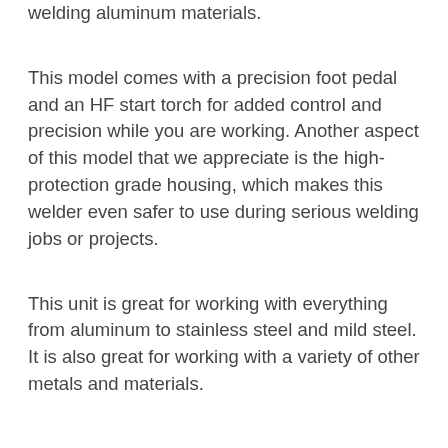welding aluminum materials.
This model comes with a precision foot pedal and an HF start torch for added control and precision while you are working. Another aspect of this model that we appreciate is the high-protection grade housing, which makes this welder even safer to use during serious welding jobs or projects.
This unit is great for working with everything from aluminum to stainless steel and mild steel. It is also great for working with a variety of other metals and materials.